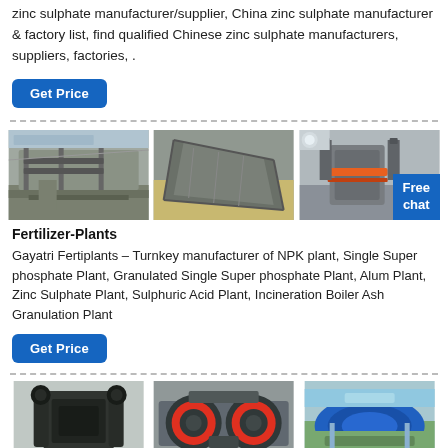zinc sulphate manufacturer/supplier, China zinc sulphate manufacturer & factory list, find qualified Chinese zinc sulphate manufacturers, suppliers, factories, .
Get Price
[Figure (photo): Three industrial machinery/plant images side by side with a Free chat badge overlay]
Fertilizer-Plants
Gayatri Fertiplants – Turnkey manufacturer of NPK plant, Single Super phosphate Plant, Granulated Single Super phosphate Plant, Alum Plant, Zinc Sulphate Plant, Sulphuric Acid Plant, Incineration Boiler Ash Granulation Plant
Get Price
[Figure (photo): Three industrial machinery images at the bottom of the page]